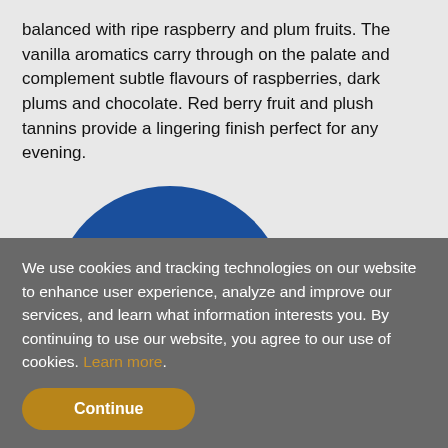balanced with ripe raspberry and plum fruits. The vanilla aromatics carry through on the palate and complement subtle flavours of raspberries, dark plums and chocolate. Red berry fruit and plush tannins provide a lingering finish perfect for any evening.
[Figure (illustration): Blue circle button with white bold text 'SHOP ONLINE' and a white cursor/mouse pointer icon below the text]
[Figure (illustration): Hexagon badge shape with grey upper section labeled 'MEDIUM' in white bold text and gold/yellow lower section labeled 'CRISP' in white bold text]
We use cookies and tracking technologies on our website to enhance user experience, analyze and improve our services, and learn what information interests you. By continuing to use our website, you agree to our use of cookies. Learn more.
Continue